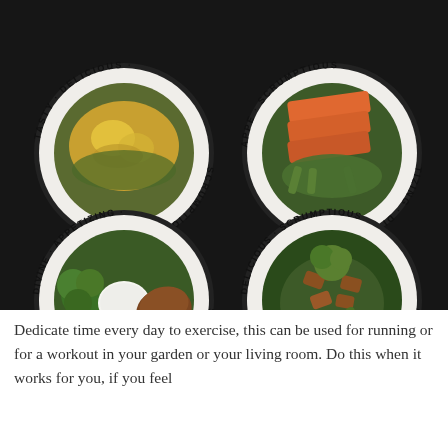[Figure (photo): Four white plates arranged in a 2x2 grid on a dark background. Top-left: scrambled eggs with greens. Top-right: spiced salmon with green beans and snap peas. Bottom-left: grilled steak with broccoli and white rice. Bottom-right: stir-fried chicken with broccoli, okra and green beans. Each plate has words printed around the rim including TASTY, DELICIOUS, SCRUMPTIOUS, DIVINE, APPETIZING.]
Dedicate time every day to exercise, this can be used for running or for a workout in your garden or your living room. Do this when it works for you, if you feel